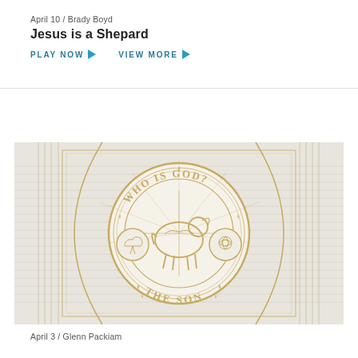April 10 / Brady Boyd
Jesus is a Shepard
PLAY NOW ▶   VIEW MORE ▶
[Figure (illustration): Decorative circular logo with geometric gold lines on a light marble/concrete background. Center shows a stylized lamb inside a circle, with text 'WHO IS GOD?' arching on top and 'THE SON' arching on the bottom. Surrounding geometric art-deco patterns and small medallion icons on either side.]
April 3 / Glenn Packiam